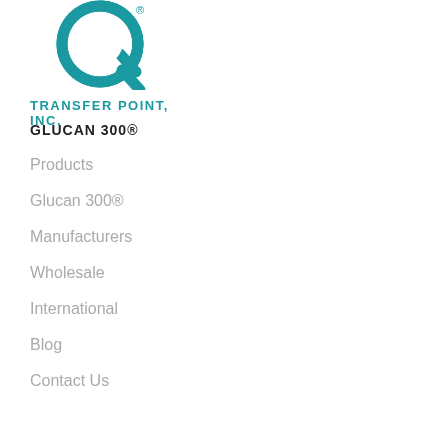[Figure (logo): Transfer Point Inc. logo — teal circular Q-shaped icon above the text TRANSFER POINT, INC. in teal bold capitals]
GLUCAN 300®
Products
Glucan 300®
Manufacturers
Wholesale
International
Blog
Contact Us